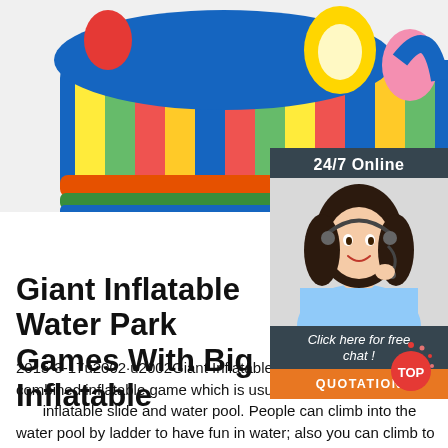[Figure (photo): Colorful giant inflatable water park bouncy castle with SpongeBob and cartoon characters, blue and multicolored stripes]
[Figure (photo): 24/7 Online chat widget with a smiling woman wearing a headset, dark teal background, 'Click here for free chat!' text and orange QUOTATION button]
Giant Inflatable Water Park Games With Big Inflatable
2015-3-17u2002·u2002Giant Inflatable water park is a combined inflatable game which is usually combined with inflatable slide and water pool. People can climb into the water pool by ladder to have fun in water; also you can climb to the slides by the separated air bag and steps then you can slide all the way down with water, very fun and exciting!